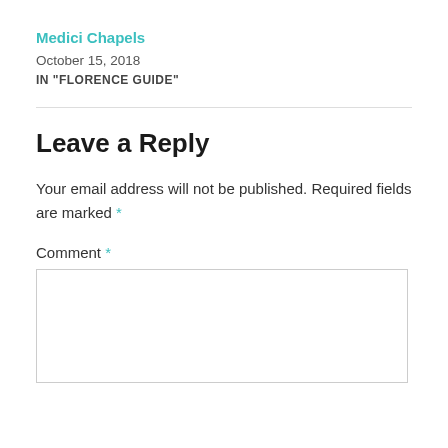Medici Chapels
October 15, 2018
IN “FLORENCE GUIDE”
Leave a Reply
Your email address will not be published. Required fields are marked *
Comment *